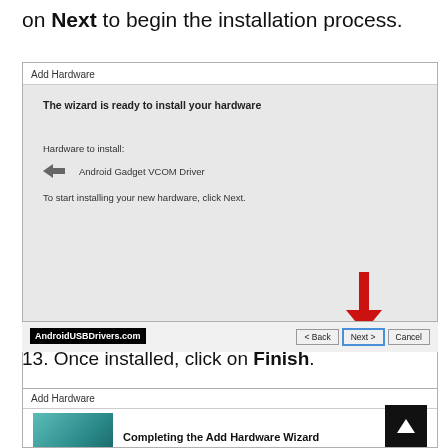on Next to begin the installation process.
[Figure (screenshot): Add Hardware wizard dialog showing 'The wizard is ready to install your hardware' with Android Gadget VCOM Driver listed, and buttons Back, Next, Cancel. A red arrow points to the Next button. AndroidUSBDrivers.com watermark visible.]
13. Once installed, click on Finish.
[Figure (screenshot): Add Hardware wizard dialog showing 'Completing the Add Hardware Wizard' with teal graphic and scroll-up button.]